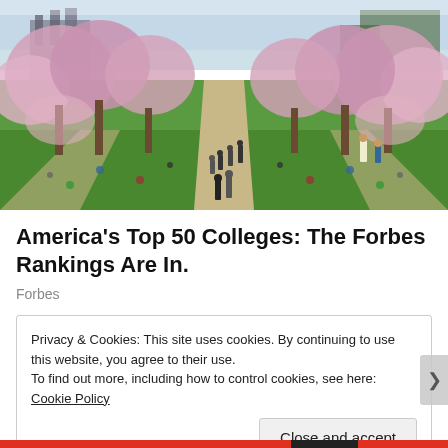[Figure (photo): University campus scene with cherry blossom trees in bloom, students walking on paths across a green lawn, with a brick building visible in the background.]
America's Top 50 Colleges: The Forbes Rankings Are In.
Forbes
Privacy & Cookies: This site uses cookies. By continuing to use this website, you agree to their use.
To find out more, including how to control cookies, see here: Cookie Policy
Close and accept